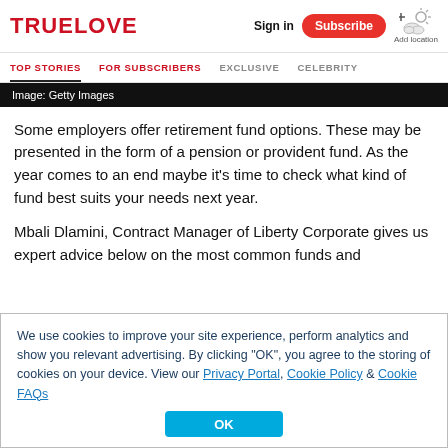TRUELOVE — Sign in | Subscribe | Add location
TOP STORIES | FOR SUBSCRIBERS | EXCLUSIVE | CELEBRITY
Image: Getty Images
Some employers offer retirement fund options. These may be presented in the form of a pension or provident fund. As the year comes to an end maybe it's time to check what kind of fund best suits your needs next year.
Mbali Dlamini, Contract Manager of Liberty Corporate gives us expert advice below on the most common funds and
We use cookies to improve your site experience, perform analytics and show you relevant advertising. By clicking "OK", you agree to the storing of cookies on your device. View our Privacy Portal, Cookie Policy & Cookie FAQs